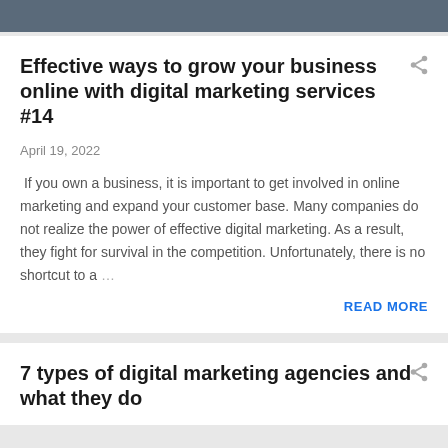Effective ways to grow your business online with digital marketing services #14
April 19, 2022
If you own a business, it is important to get involved in online marketing and expand your customer base. Many companies do not realize the power of effective digital marketing. As a result, they fight for survival in the competition. Unfortunately, there is no shortcut to a …
READ MORE
7 types of digital marketing agencies and what they do